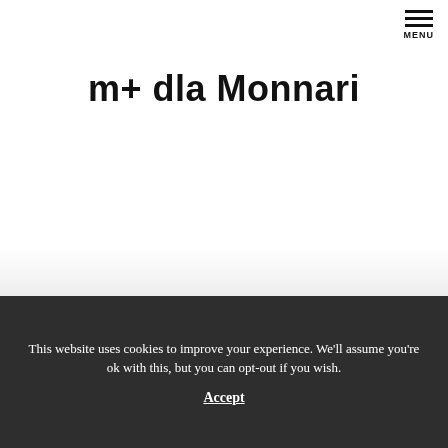MENU
m+ dla Monnari
This website uses cookies to improve your experience. We'll assume you're ok with this, but you can opt-out if you wish.
Accept